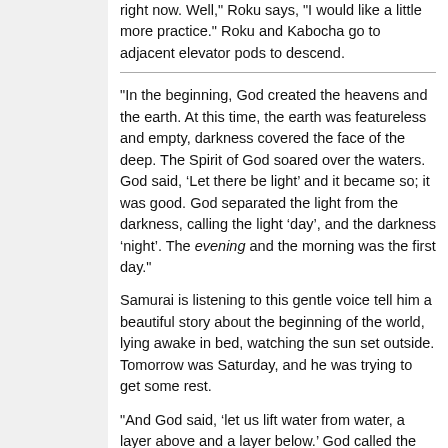right now. Well," Roku says, "I would like a little more practice." Roku and Kabocha go to adjacent elevator pods to descend.
"In the beginning, God created the heavens and the earth. At this time, the earth was featureless and empty, darkness covered the face of the deep. The Spirit of God soared over the waters. God said, 'Let there be light' and it became so; it was good. God separated the light from the darkness, calling the light 'day', and the darkness 'night'. The evening and the morning was the first day."
Samurai is listening to this gentle voice tell him a beautiful story about the beginning of the world, lying awake in bed, watching the sun set outside. Tomorrow was Saturday, and he was trying to get some rest.
"And God said, 'let us lift water from water, a layer above and a layer below.' God called the space between these layers the 'sky'. The evening and the morning was the second day. God said, 'Let the land produces plants that bear seed, and trees that bear fruit.